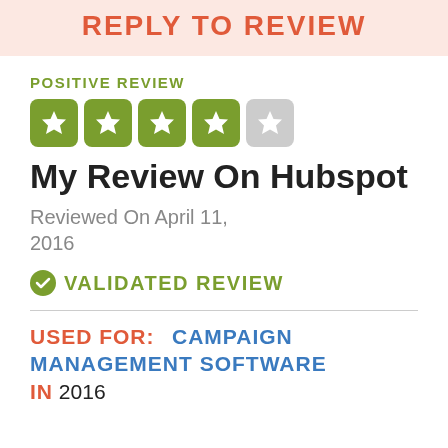REPLY TO REVIEW
POSITIVE REVIEW
[Figure (other): 4 out of 5 star rating using green filled star boxes and one grey empty star box]
My Review On Hubspot
Reviewed On April 11, 2016
✓ VALIDATED REVIEW
USED FOR:  CAMPAIGN MANAGEMENT SOFTWARE IN 2016